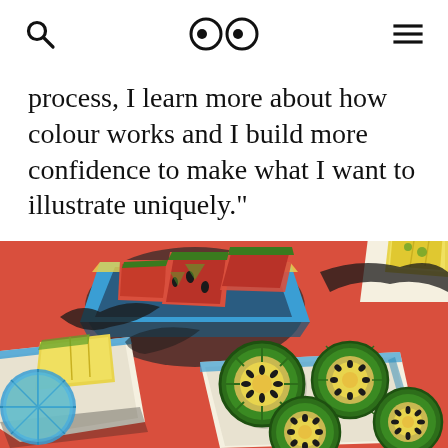[search icon] [eyes logo] [menu icon]
process, I learn more about how colour works and I build more confidence to make what I want to illustrate uniquely."
[Figure (illustration): Colorful retro-style illustration of fruit on a red background: a blue bowl with watermelon slices, plates with kiwi slices, lemon wedges, and citrus fruit, rendered in a bold graphic print style with cyan, green, yellow, dark shadow layers]